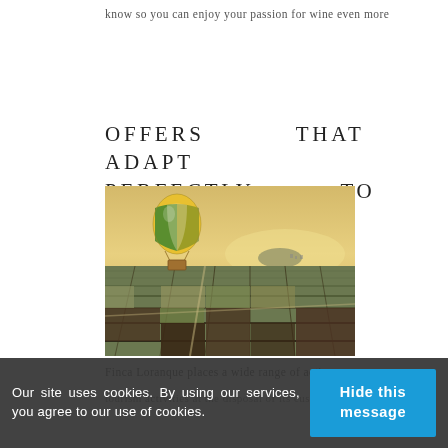know so you can enjoy your passion for wine even more
Offers that adapt perfectly to active
[Figure (photo): Hot air balloon with yellow and green stripes flying over patchwork agricultural fields and vineyards at sunset]
Finca Loranque places a wide range of active tourism activities at the disposal of its customers, all in the natural environment of the Castilian-La Mancha viticultural pyrokhana, which offers visitors the
Our site uses cookies. By using our services, you agree to our use of cookies.
Hide this message